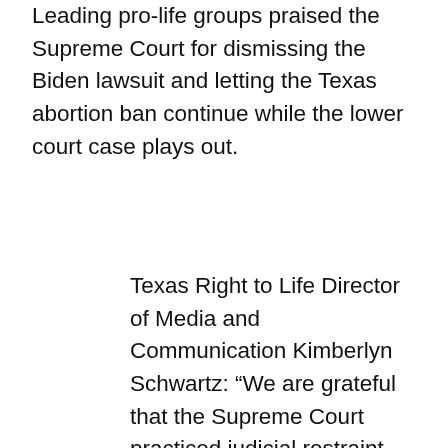Leading pro-life groups praised the Supreme Court for dismissing the Biden lawsuit and letting the Texas abortion ban continue while the lower court case plays out.
Texas Right to Life Director of Media and Communication Kimberlyn Schwartz: “We are grateful that the Supreme Court practiced judicial restraint today and stopped the Biden administration’s pro-abortion campaign against the strongest Pro-Life law being enforced today. While we continue to fight for this policy in the lower courts, Texas Right to Life celebrates that the Texas Heartbeat Act will continue saving between 75-100 preborn